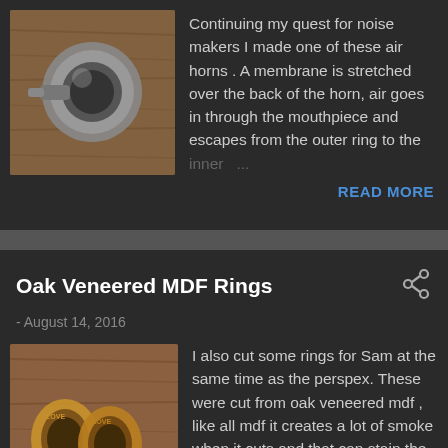[Figure (photo): A small metallic air horn component photographed on a wooden surface]
Continuing my quest for noise makers I made one of these air horns . A membrane is stretched over the back of the horn, air goes in through the mouthpiece and escapes from the outer ring to the inner ...
READ MORE
Oak Veneered MDF Rings
- August 14, 2016
[Figure (photo): Two oak veneered MDF rings with LOVE inscribed, photographed on a wooden surface]
I also cut some rings for Sam at the same time as the perspex. These were cut from oak veneered mdf , like all mdf it creates a lot of smoke when it cuts and that can stain the surface. Masking it is still one possib ...